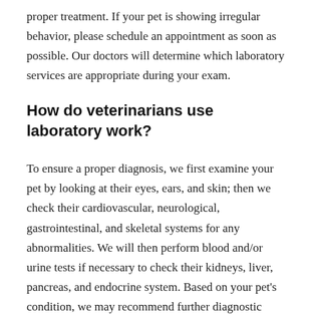proper treatment. If your pet is showing irregular behavior, please schedule an appointment as soon as possible. Our doctors will determine which laboratory services are appropriate during your exam.
How do veterinarians use laboratory work?
To ensure a proper diagnosis, we first examine your pet by looking at their eyes, ears, and skin; then we check their cardiovascular, neurological, gastrointestinal, and skeletal systems for any abnormalities. We will then perform blood and/or urine tests if necessary to check their kidneys, liver, pancreas, and endocrine system. Based on your pet's condition, we may recommend further diagnostic testing.
If you're concerned that something may be wrong with your pet